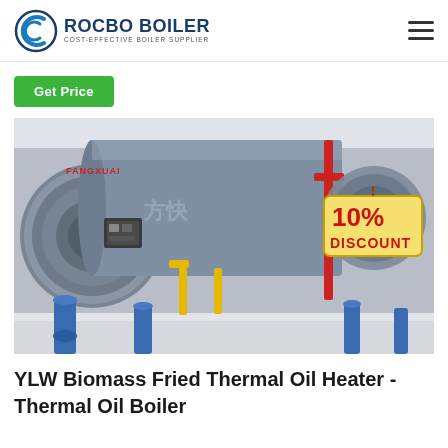ROCBO BOILER — COST-EFFECTIVE BOILER SUPPLIER
Get Price
[Figure (photo): Industrial boiler room showing multiple large horizontal cylindrical boilers (FANGXUAI brand), painted metallic grey with blue base supports, yellow gas piping connections, red vertical pipe, and a '10% DISCOUNT' promotional tag visible in the upper right area of the image.]
YLW Biomass Fried Thermal Oil Heater - Thermal Oil Boiler